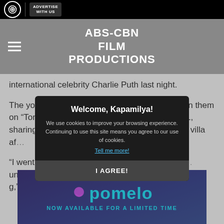ABS-CBN FILM PRODUCTIONS | ADVERTISE WITH US
international celebrity Charlie Puth last night.
The young star detailed what happened between them on “Tonight with Boy Abunda” yesterday, May 31, sharing that Charlie personally invited her to his villa af…
“I went to… and it was in a club. T… underage… is daw and said j… g,” she gushed.
[Figure (screenshot): Cookie consent modal overlay with title 'Welcome, Kapamilya!', text about cookies, a 'Tell me more!' link, and an 'I AGREE!' button]
[Figure (logo): Pomelo logo with teal/cyan text and heart icon on dark navy background, with text 'NOW AVAILABLE FOR A LIMITED TIME']